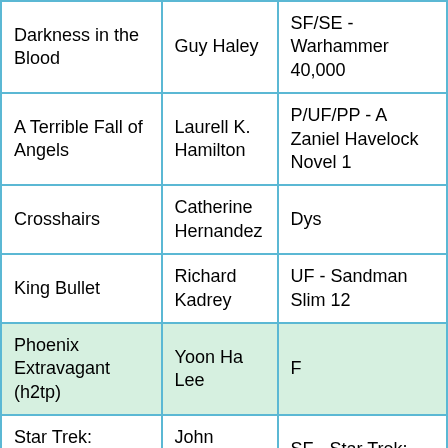| Darkness in the Blood | Guy Haley | SF/SE - Warhammer 40,000 |
| A Terrible Fall of Angels | Laurell K. Hamilton | P/UF/PP - A Zaniel Havelock Novel 1 |
| Crosshairs | Catherine Hernandez | Dys |
| King Bullet | Richard Kadrey | UF - Sandman Slim 12 |
| Phoenix Extravagant (h2tp) | Yoon Ha Lee | F |
| Star Trek: Picard: Rogue Elements | John Jackson Miller | SF - Star Trek: Picard 3 |
| The Boundless | Peter Newman | F/DF - The Deathless Trilogy 3 |